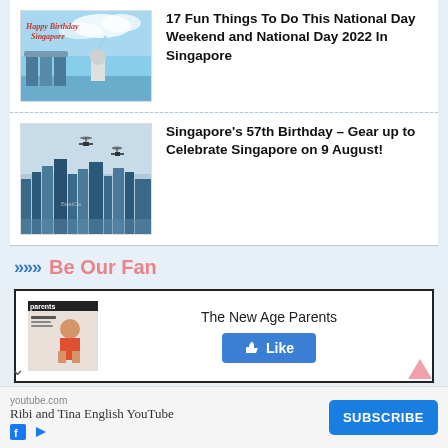[Figure (photo): Thumbnail image of Singapore Marina Bay Sands with Happy Birthday Singapore text overlay]
17 Fun Things To Do This National Day Weekend and National Day 2022 In Singapore
[Figure (photo): Thumbnail image of Singapore city skyline with helicopters flying]
Singapore's 57th Birthday – Gear up to Celebrate Singapore on 9 August!
Be Our Fan
[Figure (screenshot): Facebook Like widget showing The New Age Parents magazine cover, page name and Like button]
[Figure (screenshot): Advertisement banner for Ribi and Tina English YouTube channel with Subscribe button]